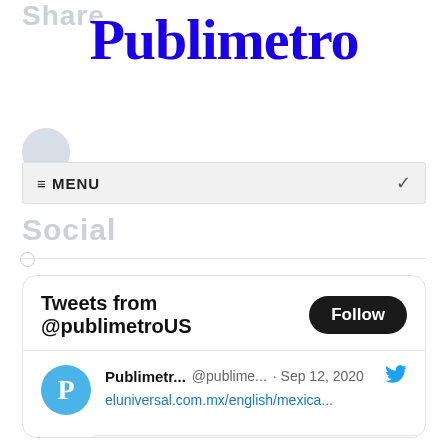Publimetro
Social
≡ MENU
Tweets from @publimetroUS
Publimetr... @publime... · Sep 12, 2020
eluniversal.com.mx/english/mexica...